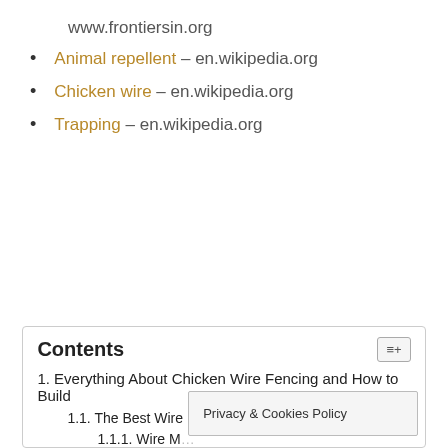www.frontiersin.org
Animal repellent – en.wikipedia.org
Chicken wire – en.wikipedia.org
Trapping – en.wikipedia.org
Contents
1. Everything About Chicken Wire Fencing and How to Build
1.1. The Best Wire For the Chicken Run
1.1.1. Wire M…
Privacy & Cookies Policy